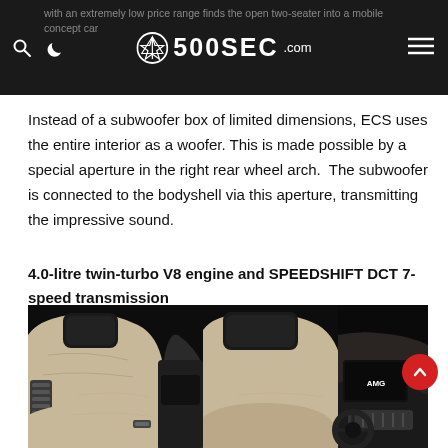500SEC.com
Instead of a subwoofer box of limited dimensions, ECS uses the entire interior as a woofer. This is made possible by a special aperture in the right rear wheel arch.  The subwoofer is connected to the bodyshell via this aperture, transmitting the impressive sound.
4.0-litre twin-turbo V8 engine and SPEEDSHIFT DCT 7-speed transmission
[Figure (photo): Interior photo of Mercedes-AMG GT showing cream/beige leather sports seats with carbon fiber accents, center console, AMG logo on dashboard, and steering wheel in a dark cockpit environment]